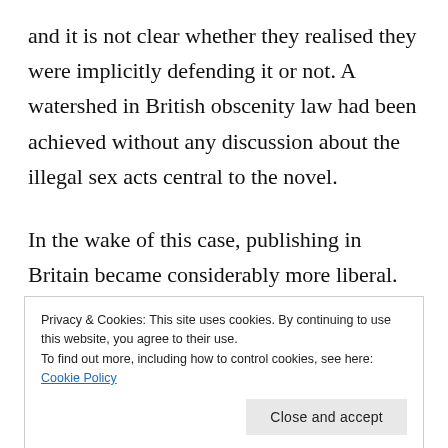and it is not clear whether they realised they were implicitly defending it or not. A watershed in British obscenity law had been achieved without any discussion about the illegal sex acts central to the novel.
In the wake of this case, publishing in Britain became considerably more liberal. Had Hutchinson not agreed to advise Penguin to take
Privacy & Cookies: This site uses cookies. By continuing to use this website, you agree to their use.
To find out more, including how to control cookies, see here: Cookie Policy
[Close and accept button]
Education, University of Dundee This article is